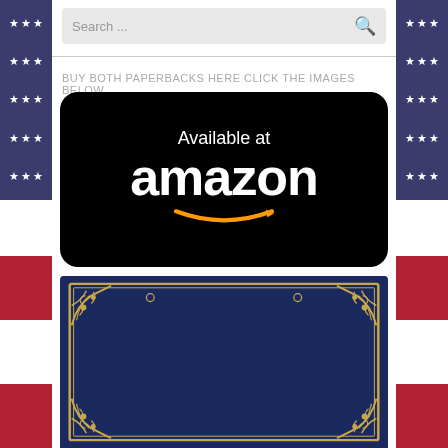[Figure (screenshot): Search bar with placeholder text 'Search...' and magnifying glass icon on grey background]
BUY BOTH PAPERBACKS HERE CLICK THE IMAGES BELOW
[Figure (logo): Available at amazon logo — white text 'Available at' and 'amazon' with orange smile arrow on black rounded rectangle background]
[Figure (illustration): Dark navy book cover with gold ornate corner decorations on all four corners against navy blue background]